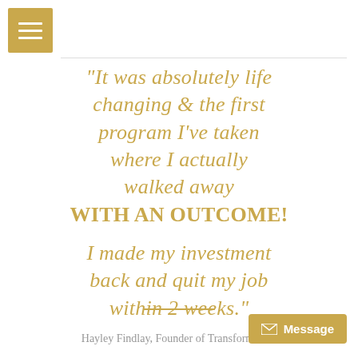[Figure (other): Golden hamburger menu icon button in top-left corner]
"It was absolutely life changing & the first program I've taken where I actually walked away WITH AN OUTCOME!
I made my investment back and quit my job within 2 weeks."
Hayley Findlay, Founder of Transformation